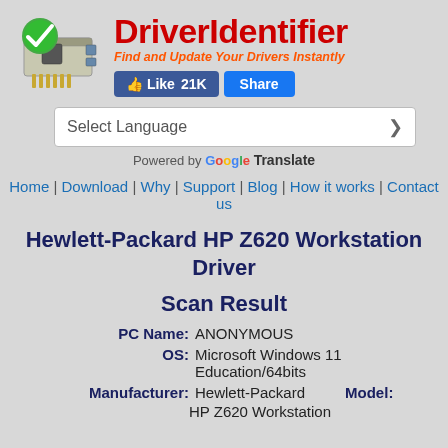[Figure (logo): DriverIdentifier logo with a PCI network card and green checkmark]
DriverIdentifier
Find and Update Your Drivers Instantly
👍 Like 21K   Share
Select Language (dropdown) — Powered by Google Translate
Home | Download | Why | Support | Blog | How it works | Contact us
Hewlett-Packard HP Z620 Workstation Driver Scan Result
PC Name: ANONYMOUS
OS: Microsoft Windows 11 Education/64bits
Manufacturer: Hewlett-Packard   Model: HP Z620 Workstation